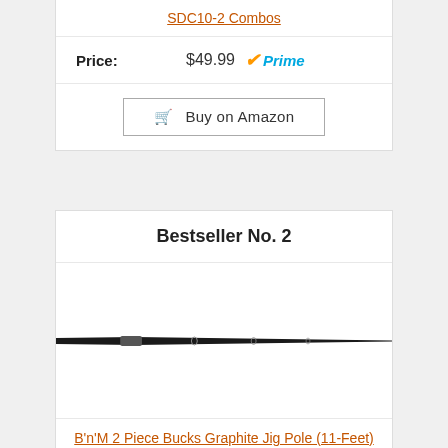SDC10-2 Combos
Price: $49.99 Prime
Buy on Amazon
Bestseller No. 2
[Figure (photo): Product image of a fishing pole/jig pole, shown horizontally, black rod extending from left to right]
B'n'M 2 Piece Bucks Graphite Jig Pole (11-Feet)